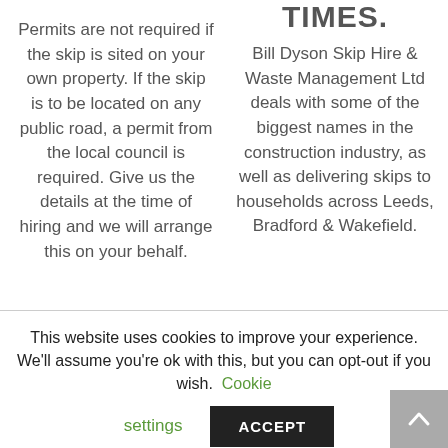Permits are not required if the skip is sited on your own property. If the skip is to be located on any public road, a permit from the local council is required. Give us the details at the time of hiring and we will arrange this on your behalf.
TIMES.
Bill Dyson Skip Hire & Waste Management Ltd deals with some of the biggest names in the construction industry, as well as delivering skips to households across Leeds, Bradford & Wakefield.
This website uses cookies to improve your experience. We'll assume you're ok with this, but you can opt-out if you wish. Cookie settings ACCEPT